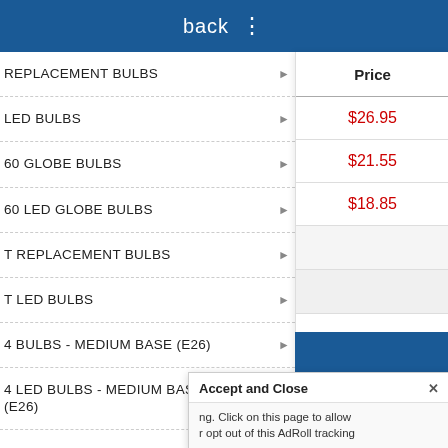back ⋮
REPLACEMENT BULBS
LED BULBS
60 GLOBE BULBS
60 LED GLOBE BULBS
T REPLACEMENT BULBS
T LED BULBS
4 BULBS - MEDIUM BASE (E26)
4 LED BULBS - MEDIUM BASE (E26)
| Price |
| --- |
| $26.95 |
| $21.55 |
| $18.85 |
Accept and Close ✕
ing. Click on this page to allow
r opt out of this AdRoll tracking